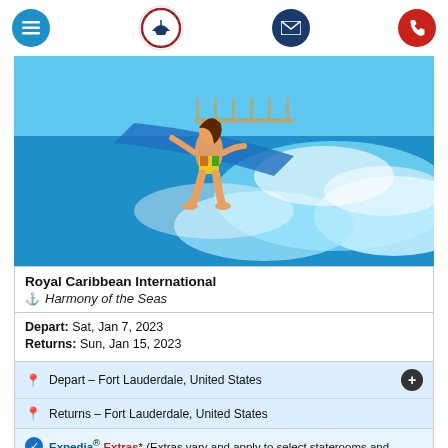[Figure (photo): Navigation bar with hamburger menu (blue circle), cruise company compass logo (center), email icon (dark blue circle), and phone icon (red circle)]
[Figure (photo): Woman in colorful swimsuit surfing a FlowRider wave simulator on a cruise ship deck with blue sky background]
Royal Caribbean International
Harmony of the Seas
Depart: Sat, Jan 7, 2023
Returns: Sun, Jan 15, 2023
Depart – Fort Lauderdale, United States
Returns – Fort Lauderdale, United States
Expedia® Extras* (Extras vary and apply to select staterooms and prices)
30% Off All Guests - Ends 10/2
EXCLUSIVE! $50 Onboard Credit